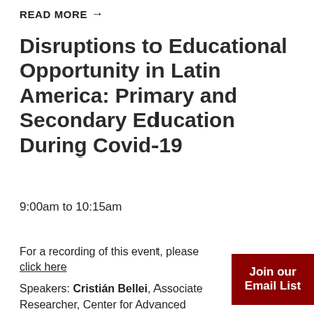READ MORE →
Disruptions to Educational Opportunity in Latin America: Primary and Secondary Education During Covid-19
9:00am to 10:15am
For a recording of this event, please click here
Join our Email List
Speakers: Cristián Bellei, Associate Researcher, Center for Advanced Research in Education, and Professor of Sociology